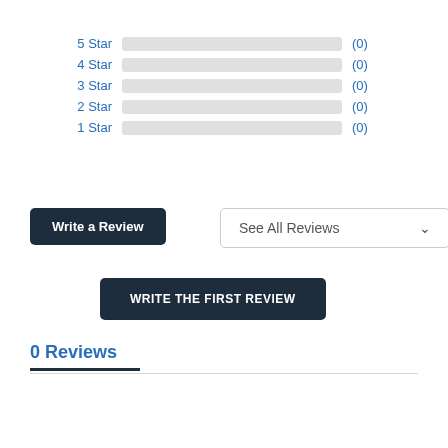[Figure (bar-chart): Star rating distribution]
Write a Review
See All Reviews
WRITE THE FIRST REVIEW
0 Reviews